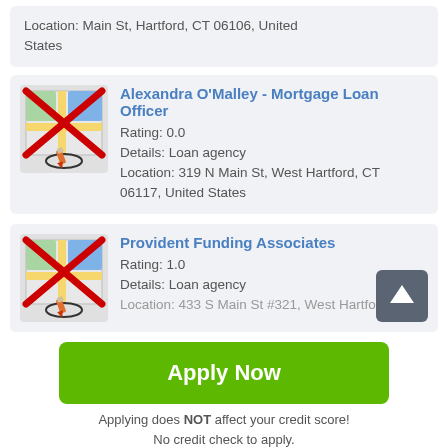Location: Main St, Hartford, CT 06106, United States
Alexandra O'Malley - Mortgage Loan Officer
Rating: 0.0
Details: Loan agency
Location: 319 N Main St, West Hartford, CT 06117, United States
Provident Funding Associates
Rating: 1.0
Details: Loan agency
Location: 433 S Main St #321, West Hartford
Apply Now
Applying does NOT affect your credit score!
No credit check to apply.